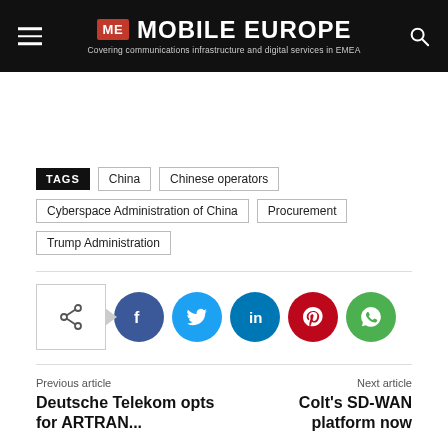MOBILE EUROPE — Covering communications infrastructure and digital services in EMEA
TAGS: China, Chinese operators, Cyberspace Administration of China, Procurement, Trump Administration
[Figure (infographic): Social share buttons: share icon box with arrow, Facebook (blue circle), Twitter (light blue circle), LinkedIn (dark blue circle), Pinterest (red circle), WhatsApp (green circle)]
Previous article
Deutsche Telekom opts for ARTRAN...
Next article
Colt's SD-WAN platform now...